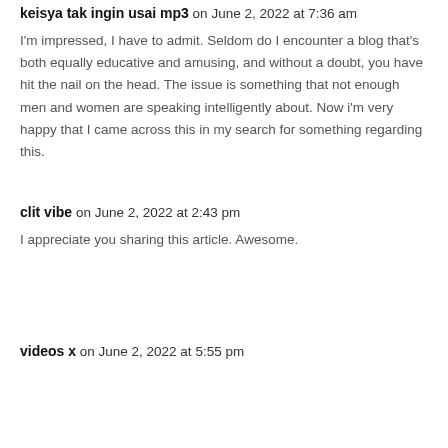keisya tak ingin usai mp3 on June 2, 2022 at 7:36 am
I'm impressed, I have to admit. Seldom do I encounter a blog that's both equally educative and amusing, and without a doubt, you have hit the nail on the head. The issue is something that not enough men and women are speaking intelligently about. Now i'm very happy that I came across this in my search for something regarding this.
clit vibe on June 2, 2022 at 2:43 pm
I appreciate you sharing this article. Awesome.
videos x on June 2, 2022 at 5:55 pm